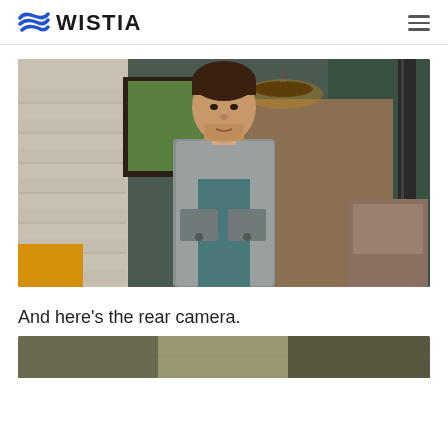WISTIA
[Figure (photo): A man standing in an office hallway. He is wearing a grey button-up shirt over a teal t-shirt. The background shows a corridor with green walls, pendant lights, brick walls, and seating area.]
And here’s the rear camera.
[Figure (photo): Partial view of another photo at the bottom of the page, showing an outdoor or indoor scene.]